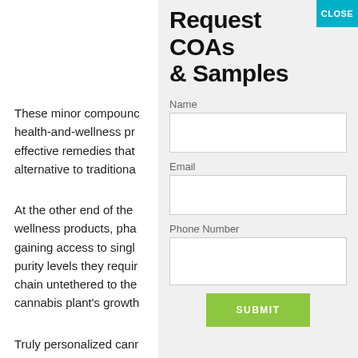These minor compounds health-and-wellness products, effective remedies that alternative to traditiona
At the other end of the wellness products, pha gaining access to single purity levels they requir chain untethered to the cannabis plant's growth
Truly personalized cann individual and each ne clinically proven FDA-a
Request COAs & Samples
Name
Email
Phone Number
SUBMIT